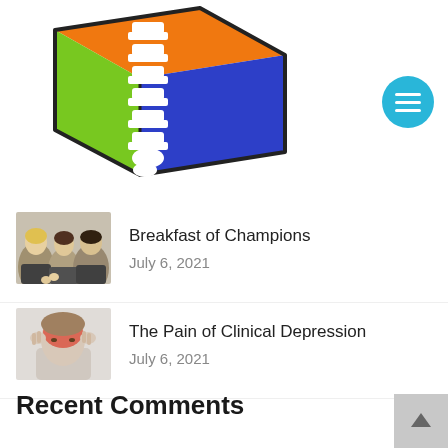[Figure (logo): 3D cube logo with orange top, green left face, blue right face, and a white spine/vertebrae graphic running vertically down the center]
[Figure (illustration): Cyan/blue circle with three horizontal white lines (hamburger menu icon)]
[Figure (photo): Thumbnail photo of business people applauding and smiling]
Breakfast of Champions
July 6, 2021
[Figure (photo): Thumbnail photo of a person holding their head in pain with red highlight on the head area]
The Pain of Clinical Depression
July 6, 2021
Recent Comments